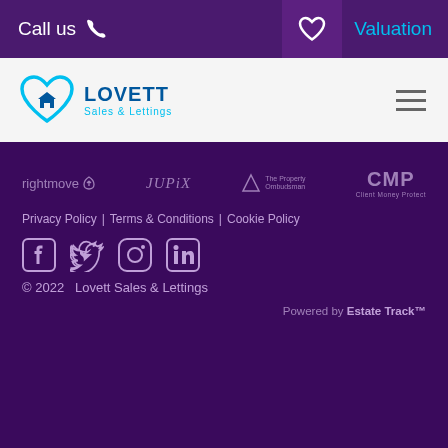Call us | Valuation
[Figure (logo): Lovett Sales & Lettings logo with heart-and-house icon in cyan/blue, company name in dark blue LOVETT with Sales & Lettings subtitle in cyan]
[Figure (logo): Partner logos row: rightmove, jupix, The Property Ombudsman, CMP Client Money Protect]
Privacy Policy | Terms & Conditions | Cookie Policy
[Figure (infographic): Social media icons: Facebook, Twitter, Instagram, LinkedIn]
© 2022  Lovett Sales & Lettings
Powered by Estate Track™